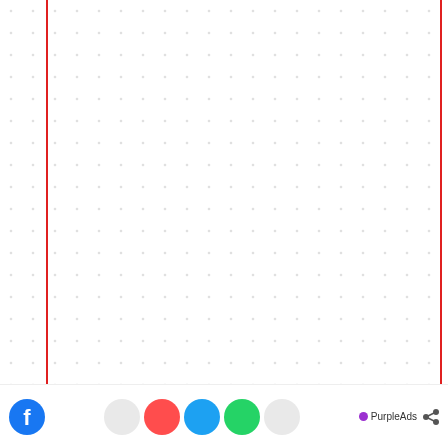[Figure (screenshot): Background with dot/cross grid pattern and red vertical border lines on left and right sides of the page]
[Figure (screenshot): BC.GAME advertisement banner: dark red/maroon background, BC.GAME logo with Bitcoin symbol, text '3000+ GAMES', green 'PLAY NOW' button, decorative dice and coin graphics]
Double your crypto
Join Lucky Dice
luckydice.com
Ninja Covid Is Highly Transmissible Than Other Strains Of Virus
Brainberries